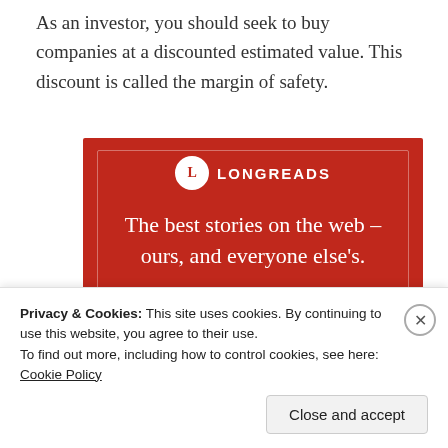As an investor, you should seek to buy companies at a discounted estimated value. This discount is called the margin of safety.
[Figure (illustration): Longreads advertisement banner on dark red background. Shows the Longreads logo (L in a circle), the text 'The best stories on the web – ours, and everyone else's.' and a black 'Start reading' button.]
Privacy & Cookies: This site uses cookies. By continuing to use this website, you agree to their use. To find out more, including how to control cookies, see here: Cookie Policy